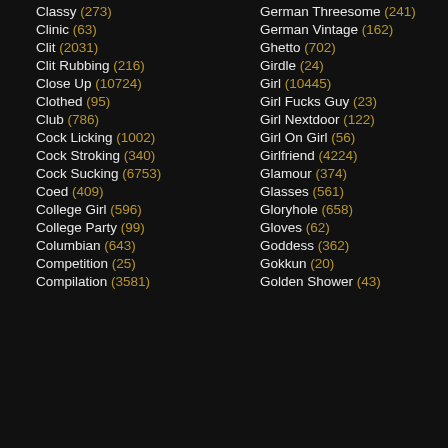Classy (273)
Clinic (63)
Clit (2031)
Clit Rubbing (216)
Close Up (10724)
Clothed (95)
Club (786)
Cock Licking (1002)
Cock Stroking (340)
Cock Sucking (6753)
Coed (409)
College Girl (596)
College Party (99)
Columbian (643)
Competition (25)
Compilation (3581)
German Threesome (241)
German Vintage (162)
Ghetto (702)
Girdle (24)
Girl (10445)
Girl Fucks Guy (23)
Girl Nextdoor (122)
Girl On Girl (56)
Girlfriend (4224)
Glamour (374)
Glasses (561)
Gloryhole (658)
Gloves (62)
Goddess (362)
Gokkun (20)
Golden Shower (43)